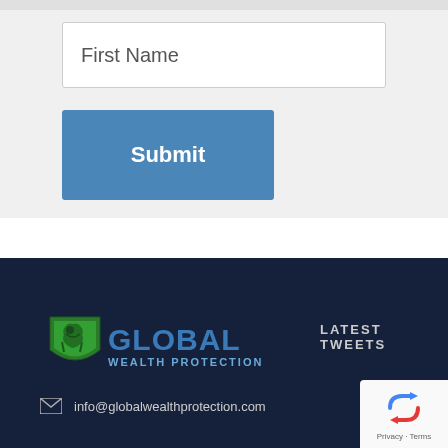First Name
Submit
[Figure (logo): Global Wealth Protection logo — green shield with lion, blue 'GLOBAL' text and 'WEALTH PROTECTION' subtitle]
LATEST TWEETS
info@globalwealthprotection.com
[Figure (other): Google reCAPTCHA badge with recycling arrow icon and Privacy · Terms text]